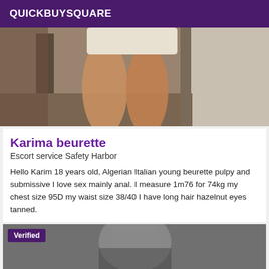QUICKBUYSQUARE
[Figure (photo): Photo showing a person's legs and lower body, appears to be a mirror selfie in a room.]
Karima beurette
Escort service Safety Harbor
Hello Karim 18 years old, Algerian Italian young beurette pulpy and submissive I love sex mainly anal. I measure 1m76 for 74kg my chest size 95D my waist size 38/40 I have long hair hazelnut eyes tanned.
[Figure (photo): Black and white photo of a person, close-up, with a Verified badge overlay.]